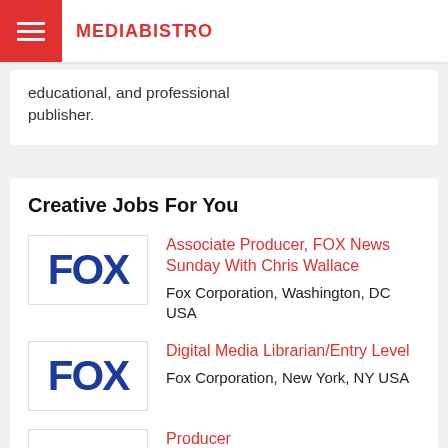MEDIABISTRO
educational, and professional publisher.
Creative Jobs For You
Associate Producer, FOX News Sunday With Chris Wallace — Fox Corporation, Washington, DC USA
Digital Media Librarian/Entry Level — Fox Corporation, New York, NY USA
Producer — Hearst Television, Jackson, MS USA